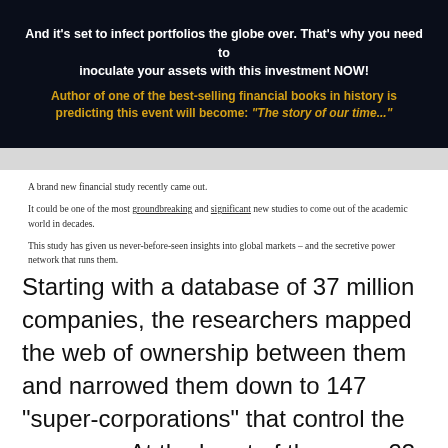And it's set to infect portfolios the globe over. That's why you need to inoculate your assets with this investment NOW!
Author of one of the best-selling financial books in history is predicting this event will become: "The story of our time..."
A brand new financial study recently came out.
It could be one of the most groundbreaking and significant new studies to come out of the academic world in decades.
This study has given us never-before-seen insights into global markets – and the secretive power network that runs them.
Starting with a database of 37 million companies, the researchers mapped the web of ownership between them and narrowed them down to 147 "super-corporations" that control the economy. At the heart of them are 23 firms (predominantly banks) that control almost half of all the money flow on the planet.